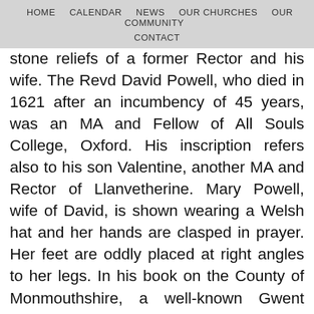HOME   CALENDAR   NEWS   OUR CHURCHES   OUR COMMUNITY   CONTACT
stone reliefs of a former Rector and his wife. The Revd David Powell, who died in 1621 after an incumbency of 45 years, was an MA and Fellow of All Souls College, Oxford. His inscription refers also to his son Valentine, another MA and Rector of Llanvetherine. Mary Powell, wife of David, is shown wearing a Welsh hat and her hands are clasped in prayer. Her feet are oddly placed at right angles to her legs. In his book on the County of Monmouthshire, a well-known Gwent historian, Fred Hando, drew attention to the position of Mrs Powell’s ring:
‘The ring on the second finger of her right